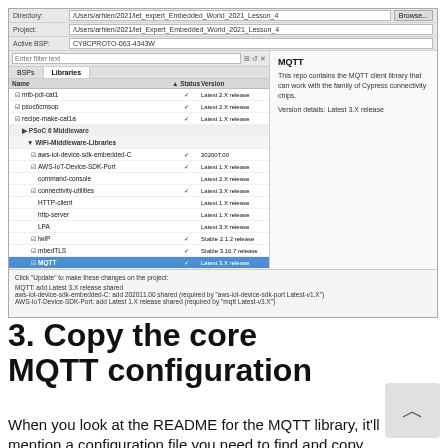[Figure (screenshot): ModusToolbox Library Manager IDE dialog showing MQTT library selected under WiFi-Middleware-Libraries, with directory and project paths set, and dependency information shown on the right panel.]
3. Copy the core MQTT configuration
When you look at the README for the MQTT library, it'll mention a configuration file you need to find and copy into your project.